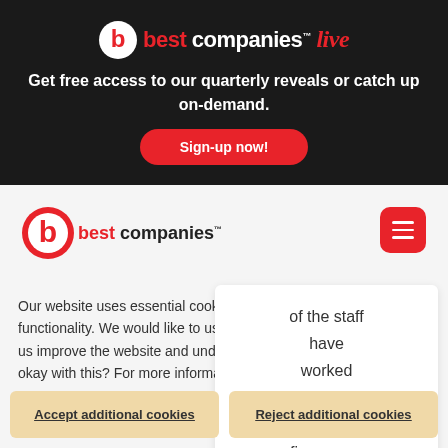[Figure (logo): Best Companies Live logo with red circle b icon and red italic Live text]
Get free access to our quarterly reveals or catch up on-demand.
Sign-up now!
[Figure (logo): Best Companies logo with red circle b icon and wordmark]
Our website uses essential cookies for website security and functionality. We would like to use additional cookies that will help us improve the website and understand how it is used – are you okay with this? For more information see our Cookie Policy
of the staff have worked there for more than five years.
Accept additional cookies
Reject additional cookies